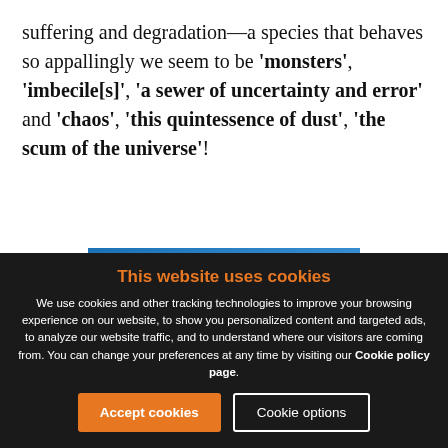suffering and degradation—a species that behaves so appallingly we seem to be 'monsters', 'imbecile[s]', 'a sewer of uncertainty and error' and 'chaos', 'this quintessence of dust', 'the scum of the universe'!
[Figure (photo): Partial view of a rocket or missile against a blue sky with white clouds]
This website uses cookies
We use cookies and other tracking technologies to improve your browsing experience on our website, to show you personalized content and targeted ads, to analyze our website traffic, and to understand where our visitors are coming from. You can change your preferences at any time by visiting our Cookie policy page.
[Accept cookies] [Cookie options]